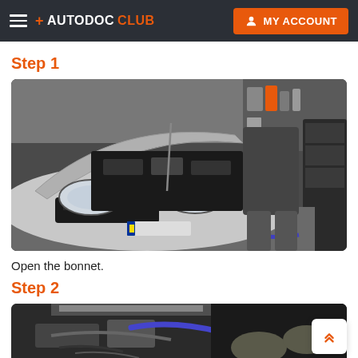+ AUTODOC CLUB   MY ACCOUNT
Step 1
[Figure (photo): A silver car with its bonnet open in a garage workshop, with a mechanic standing beside it. The engine bay is visible and there are shelves and equipment in the background.]
Open the bonnet.
Step 2
[Figure (photo): Partial view of a mechanic working under the bonnet of a car in a garage, showing hands near engine components with blue hose visible.]